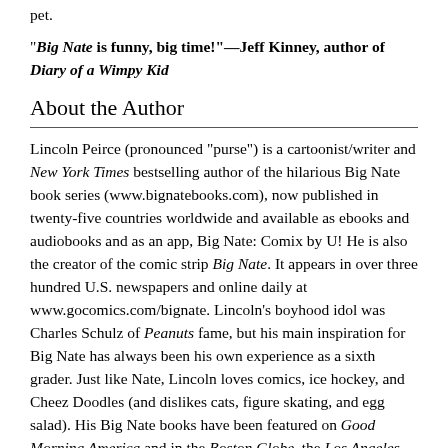pet.
"Big Nate is funny, big time!"—Jeff Kinney, author of Diary of a Wimpy Kid
About the Author
Lincoln Peirce (pronounced "purse") is a cartoonist/writer and New York Times bestselling author of the hilarious Big Nate book series (www.bignatebooks.com), now published in twenty-five countries worldwide and available as ebooks and audiobooks and as an app, Big Nate: Comix by U! He is also the creator of the comic strip Big Nate. It appears in over three hundred U.S. newspapers and online daily at www.gocomics.com/bignate. Lincoln's boyhood idol was Charles Schulz of Peanuts fame, but his main inspiration for Big Nate has always been his own experience as a sixth grader. Just like Nate, Lincoln loves comics, ice hockey, and Cheez Doodles (and dislikes cats, figure skating, and egg salad). His Big Nate books have been featured on Good Morning America and in the Boston Globe, the Los Angeles Times, USA Today, and the Washington Post. He has also written for Cartoon Network and Nickelodeon. Lincoln lives with his wife and two children in Portland, Maine.